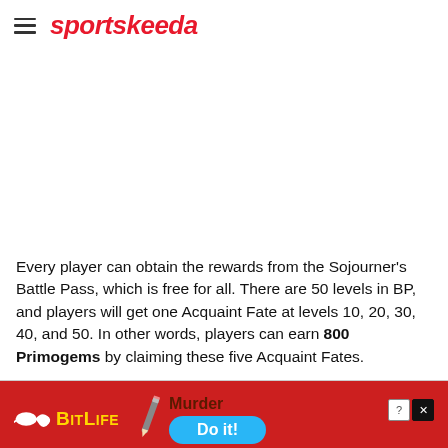sportskeeda
[Figure (photo): Large image placeholder area (white/blank)]
Every player can obtain the rewards from the Sojourner's Battle Pass, which is free for all. There are 50 levels in BP, and players will get one Acquaint Fate at levels 10, 20, 30, 40, and 50. In other words, players can earn 800 Primogems by claiming these five Acquaint Fates.
[Figure (screenshot): BitLife advertisement banner. Red background with BitLife logo (yellow text, sperm icon), pencil graphic, 'Murder' text, 'Do it!' blue button. Question mark and X close icons in top right.]